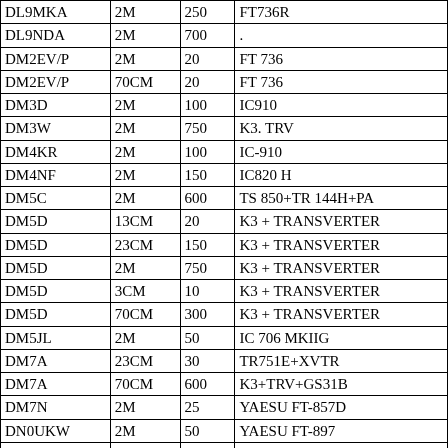| Callsign | Band | Power | Equipment |
| --- | --- | --- | --- |
| DL9MKA | 2M | 250 | FT736R |
| DL9NDA | 2M | 700 | . |
| DM2EV/P | 2M | 20 | FT 736 |
| DM2EV/P | 70CM | 20 | FT 736 |
| DM3D | 2M | 100 | IC910 |
| DM3W | 2M | 750 | K3. TRV |
| DM4KR | 2M | 100 | IC-910 |
| DM4NF | 2M | 150 | IC820 H |
| DM5C | 2M | 600 | TS 850+TR 144H+PA |
| DM5D | 13CM | 20 | K3 + TRANSVERTER |
| DM5D | 23CM | 150 | K3 + TRANSVERTER |
| DM5D | 2M | 750 | K3 + TRANSVERTER |
| DM5D | 3CM | 10 | K3 + TRANSVERTER |
| DM5D | 70CM | 300 | K3 + TRANSVERTER |
| DM5JL | 2M | 50 | IC 706 MKIIG |
| DM7A | 23CM | 30 | TR751E+XVTR |
| DM7A | 70CM | 600 | K3+TRV+GS31B |
| DM7N | 2M | 25 | YAESU FT-857D |
| DN0UKW | 2M | 50 | YAESU FT-897 |
| DN0UKW | 70CM | 50 | YAESU FT-897 |
| DO1BKW | 2M | 40 | IC-821 |
| DO1GPP | 2M | 100 | IC910 |